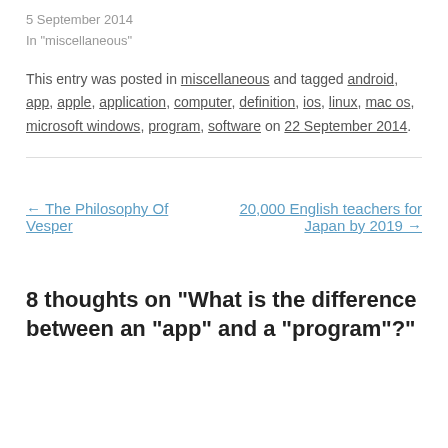5 September 2014
In “miscellaneous”
This entry was posted in miscellaneous and tagged android, app, apple, application, computer, definition, ios, linux, mac os, microsoft windows, program, software on 22 September 2014.
← The Philosophy Of Vesper
20,000 English teachers for Japan by 2019 →
8 thoughts on “What is the difference between an “app” and a “program”?”